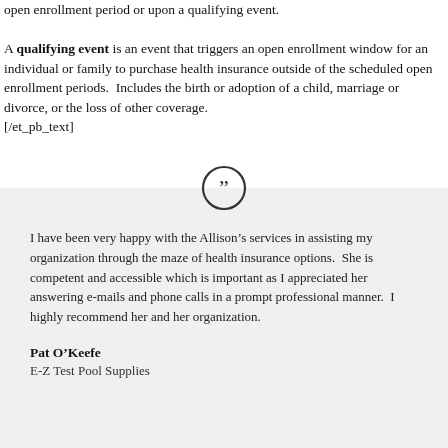open enrollment period or upon a qualifying event.

A qualifying event is an event that triggers an open enrollment window for an individual or family to purchase health insurance outside of the scheduled open enrollment periods.  Includes the birth or adoption of a child, marriage or divorce, or the loss of other coverage.
[/et_pb_text]
I have been very happy with the Allison's services in assisting my organization through the maze of health insurance options.  She is competent and accessible which is important as I appreciated her answering e-mails and phone calls in a prompt professional manner.  I highly recommend her and her organization.
Pat O'Keefe
E-Z Test Pool Supplies